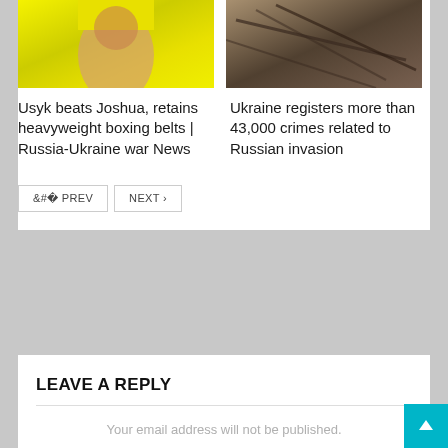[Figure (photo): Photo of boxer in yellow shirt (Usyk vs Joshua related)]
[Figure (photo): Photo related to Ukraine/Russian invasion news]
Usyk beats Joshua, retains heavyweight boxing belts | Russia-Ukraine war News
Ukraine registers more than 43,000 crimes related to Russian invasion
PREV
NEXT
LEAVE A REPLY
Your email address will not be published.